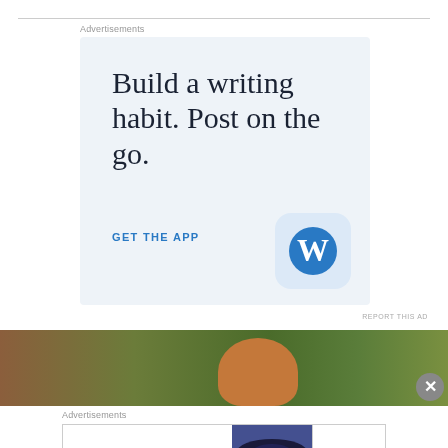Advertisements
[Figure (illustration): WordPress app advertisement with light blue background. Headline reads 'Build a writing habit. Post on the go.' with 'GET THE APP' call to action and WordPress 'W' logo icon in a rounded square.]
REPORT THIS AD
[Figure (photo): Partial photo showing green tropical plants and a person with red/auburn hair, viewed from behind.]
Advertisements
[Figure (illustration): Bloomingdale's advertisement banner showing logo, 'View Today's Top Deals!' text, a woman in a wide-brim hat, and 'SHOP NOW >' button.]
REPORT THIS AD